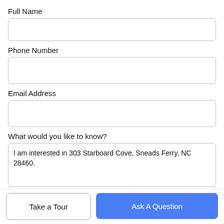Full Name
[Figure (other): Empty text input field for Full Name]
Phone Number
[Figure (other): Empty text input field for Phone Number]
Email Address
[Figure (other): Empty text input field for Email Address]
What would you like to know?
[Figure (other): Textarea with pre-filled text: I am interested in 303 Starboard Cove, Sneads Ferry, NC 28460.]
Take a Tour
Ask A Question